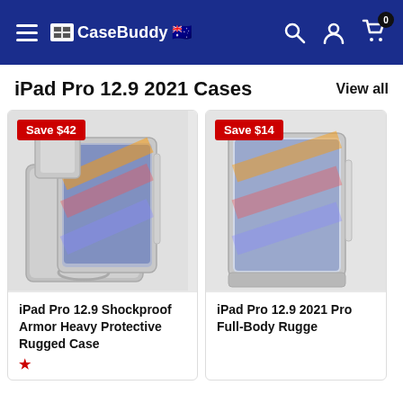CaseBuddy — navigation header with hamburger menu, logo, search, account, and cart icons
iPad Pro 12.9 2021 Cases
View all
[Figure (photo): iPad Pro 12.9 Shockproof Armor Heavy Protective Rugged Case product photo with Save $42 badge]
iPad Pro 12.9 Shockproof Armor Heavy Protective Rugged Case
[Figure (photo): iPad Pro 12.9 2021 Pro Full-Body Rugged case product photo with Save $14 badge (partially visible)]
iPad Pro 12.9 2021 Pro Full-Body Rugge...